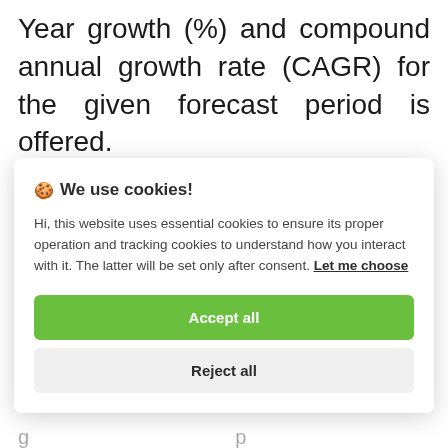Year growth (%) and compound annual growth rate (CAGR) for the given forecast period is offered.
An overview of the Market based on
[Figure (screenshot): Cookie consent modal overlay with title 'We use cookies!', explanatory text about essential and tracking cookies, a 'Let me choose' link, an 'Accept all' green button, and a 'Reject all' gray button.]
(truncated bottom text)